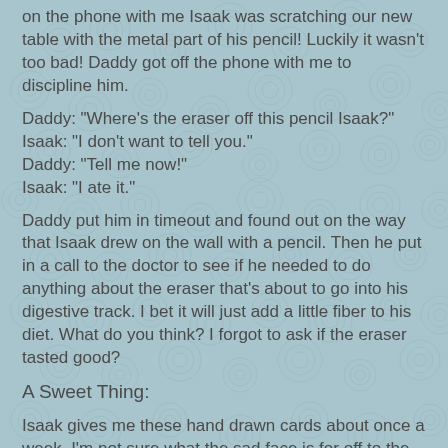on the phone with me Isaak was scratching our new table with the metal part of his pencil! Luckily it wasn't too bad! Daddy got off the phone with me to discipline him.
Daddy: "Where's the eraser off this pencil Isaak?"
Isaak: "I don't want to tell you."
Daddy: "Tell me now!"
Isaak: "I ate it."
Daddy put him in timeout and found out on the way that Isaak drew on the wall with a pencil. Then he put in a call to the doctor to see if he needed to do anything about the eraser that's about to go into his digestive track. I bet it will just add a little fiber to his diet. What do you think? I forgot to ask if the eraser tasted good?
A Sweet Thing:
Isaak gives me these hand drawn cards about once a week. I'm not sure what the sad face is for off to the side.
[Figure (illustration): Bottom portion of a hand-drawn card on yellow/cream background, partially visible at the bottom of the page.]